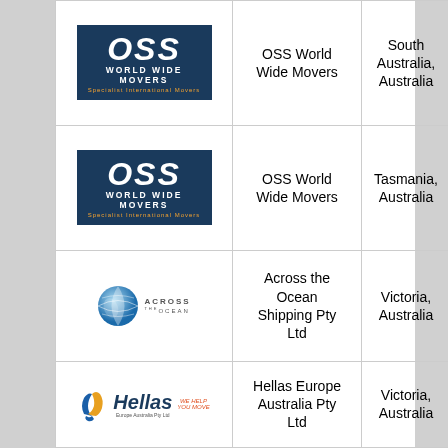| Logo | Name | Location |
| --- | --- | --- |
| [OSS World Wide Movers logo] | OSS World Wide Movers | South Australia, Australia |
| [OSS World Wide Movers logo] | OSS World Wide Movers | Tasmania, Australia |
| [Across the Ocean logo] | Across the Ocean Shipping Pty Ltd | Victoria, Australia |
| [Hellas Europe Australia logo] | Hellas Europe Australia Pty Ltd | Victoria, Australia |